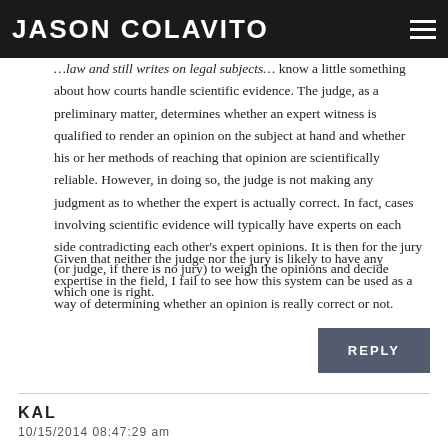JASON COLAVITO
…law and still writes on legal subjects…know a little something about how courts handle scientific evidence. The judge, as a preliminary matter, determines whether an expert witness is qualified to render an opinion on the subject at hand and whether his or her methods of reaching that opinion are scientifically reliable. However, in doing so, the judge is not making any judgment as to whether the expert is actually correct. In fact, cases involving scientific evidence will typically have experts on each side contradicting each other's expert opinions. It is then for the jury (or judge, if there is no jury) to weigh the opinions and decide which one is right.
Given that neither the judge nor the jury is likely to have any expertise in the field, I fail to see how this system can be used as a way of determining whether an opinion is really correct or not.
REPLY
KAL
10/15/2014 08:47:29 am
The KRS is a fake from modern times to drum up tourists or interest in the park there. Even if it wasn't, it's not a conspiracy to hide evidence of